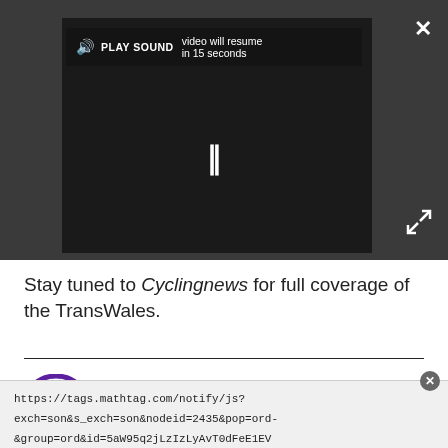[Figure (screenshot): Video player embedded in dark gray bar. Shows a black video player with a play sound button overlay, pause icon, and text 'video will resume in 15 seconds'. Close (X) button top right, expand arrows bottom right.]
Stay tuned to Cyclingnews for full coverage of the TransWales.
[Figure (logo): Cycling News logo: purple circle with white cyclist icon, next to bold purple text 'Cycling News']
https://tags.mathtag.com/notify/js?exch=son&s_exch=son&nodeid=2435&pop=ord-&group=ord&id=5aW95q2jLzIzLyAvT0dFeE1EV